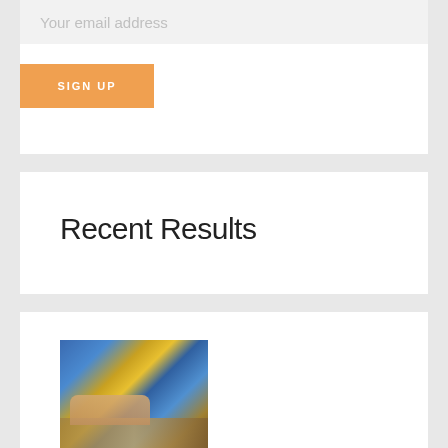Your email address
SIGN UP
Recent Results
[Figure (photo): Two people looking at a map or document together, one wearing a blue and yellow patterned shirt, hands pointing at the document]